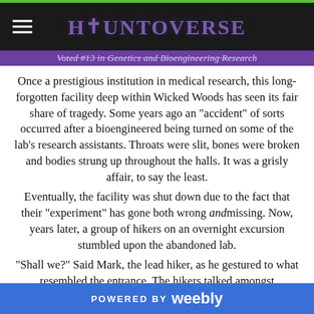HAUNTOVERSE
Voted #13 in Genetics and Bioengineering Research
Once a prestigious institution in medical research, this long-forgotten facility deep within Wicked Woods has seen its fair share of tragedy. Some years ago an "accident" of sorts occurred after a bioengineered being turned on some of the lab's research assistants. Throats were slit, bones were broken and bodies strung up throughout the halls. It was a grisly affair, to say the least.
Eventually, the facility was shut down due to the fact that their "experiment" has gone both wrong and missing. Now, years later, a group of hikers on an overnight excursion stumbled upon the abandoned lab.
"Shall we?" Said Mark, the lead hiker, as he gestured to what resembled the entrance. The hikers talked amongst themselves…
POWERED BY weebly